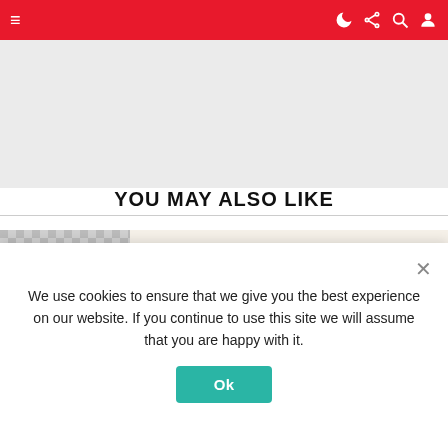Navigation bar with hamburger menu and icons for dark mode, share, search, user
[Figure (other): Gray advertisement placeholder area]
YOU MAY ALSO LIKE
[Figure (photo): Granola product image showing text: GRANOLA, 9g PROTEIN per serving, DARK CHOCOLATE CRANBERRY]
We use cookies to ensure that we give you the best experience on our website. If you continue to use this site we will assume that you are happy with it.